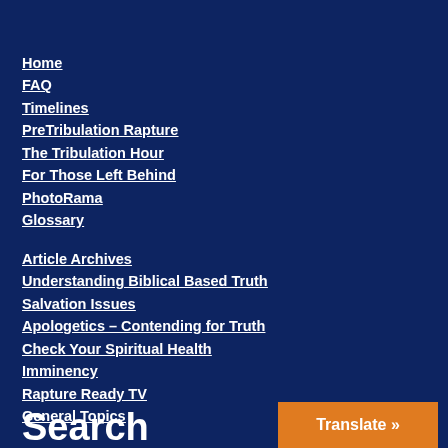Home
FAQ
Timelines
PreTribulation Rapture
The Tribulation Hour
For Those Left Behind
PhotoRama
Glossary
Article Archives
Understanding Biblical Based Truth
Salvation Issues
Apologetics – Contending for Truth
Check Your Spiritual Health
Imminency
Rapture Ready TV
General Topics
Search
Translate »